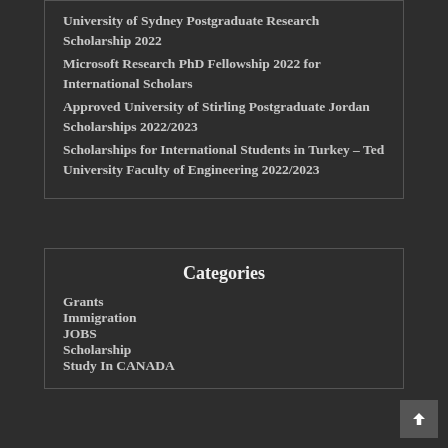University of Sydney Postgraduate Research Scholarship 2022
Microsoft Research PhD Fellowship 2022 for International Scholars
Approved University of Stirling Postgraduate Jordan Scholarships 2022/2023
Scholarships for International Students in Turkey – Ted University Faculty of Engineering 2022/2023
Categories
Grants
Immigration
JOBS
Scholarship
Study In CANADA